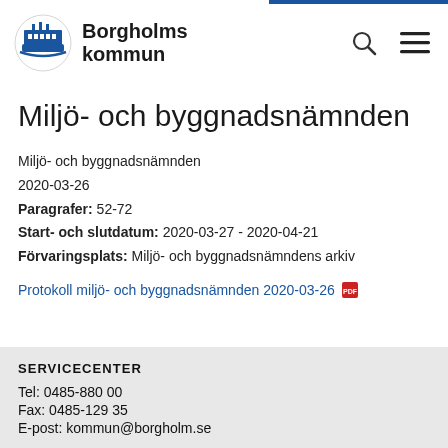Borgholms kommun
Miljö- och byggnadsnämnden
Miljö- och byggnadsnämnden
2020-03-26
Paragrafer: 52-72
Start- och slutdatum: 2020-03-27 - 2020-04-21
Förvaringsplats: Miljö- och byggnadsnämndens arkiv
Protokoll miljö- och byggnadsnämnden 2020-03-26
SERVICECENTER
Tel: 0485-880 00
Fax: 0485-129 35
E-post: kommun@borgholm.se